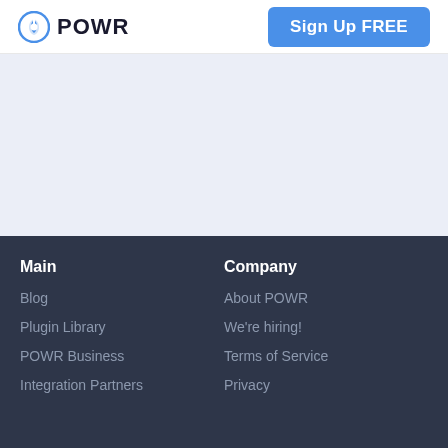POWR | Sign Up FREE
[Figure (logo): POWR logo with blue power/hand icon and bold POWR text]
[Figure (other): Light blue-grey hero/banner area, empty content section]
Main
Blog
Plugin Library
POWR Business
Integration Partners
Company
About POWR
We're hiring!
Terms of Service
Privacy